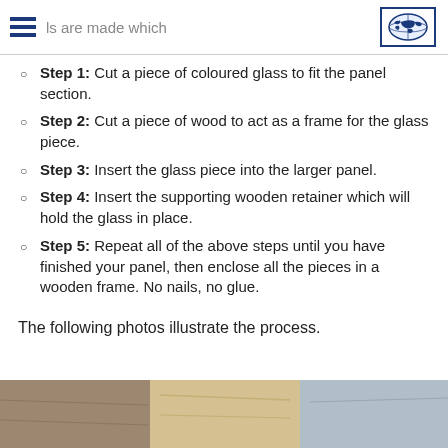panels are made which
Step 1: Cut a piece of coloured glass to fit the panel section.
Step 2: Cut a piece of wood to act as a frame for the glass piece.
Step 3: Insert the glass piece into the larger panel.
Step 4: Insert the supporting wooden retainer which will hold the glass in place.
Step 5: Repeat all of the above steps until you have finished your panel, then enclose all the pieces in a wooden frame. No nails, no glue.
The following photos illustrate the process.
[Figure (photo): Photo strip showing the process of assembling stained glass panels with wooden frames]